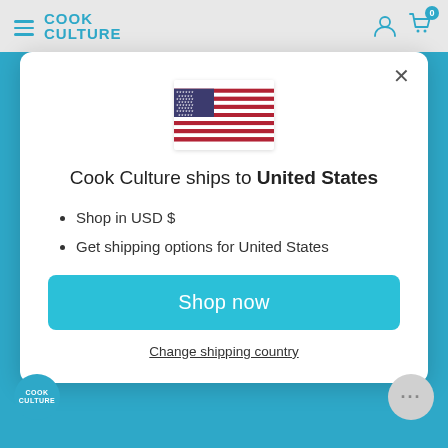COOK CULTURE
[Figure (illustration): US flag SVG illustration in modal dialog]
Cook Culture ships to United States
Shop in USD $
Get shipping options for United States
Shop now
Change shipping country